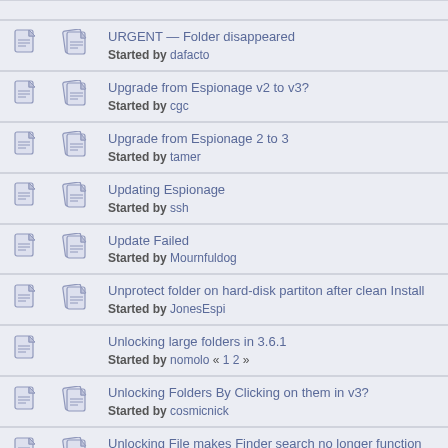URGENT — Folder disappeared
Started by dafacto
Upgrade from Espionage v2 to v3?
Started by cgc
Upgrade from Espionage 2 to 3
Started by tamer
Updating Espionage
Started by ssh
Update Failed
Started by Mournfuldog
Unprotect folder on hard-disk partiton after clean Install
Started by JonesEspi
Unlocking large folders in 3.6.1
Started by nomolo « 1 2 »
Unlocking Folders By Clicking on them in v3?
Started by cosmicnick
Unlocking File makes Finder search no longer function
Started by thymara